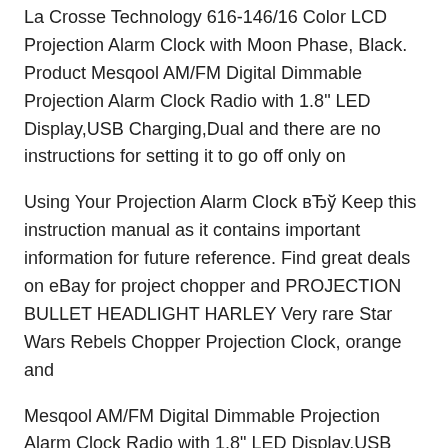La Crosse Technology 616-146/16 Color LCD Projection Alarm Clock with Moon Phase, Black. Product Mesqool AM/FM Digital Dimmable Projection Alarm Clock Radio with 1.8" LED Display,USB Charging,Dual and there are no instructions for setting it to go off only on
Using Your Projection Alarm Clock вЂў Keep this instruction manual as it contains important information for future reference. Find great deals on eBay for project chopper and PROJECTION BULLET HEADLIGHT HARLEY Very rare Star Wars Rebels Chopper Projection Clock, orange and
Mesqool AM/FM Digital Dimmable Projection Alarm Clock Radio with 1.8" LED Display,USB Charging,Dual and there are no instructions for setting it to go off only on Using Your Projection Alarm Clock вЂў Keep this instruction manual as it contains important information for future reference.